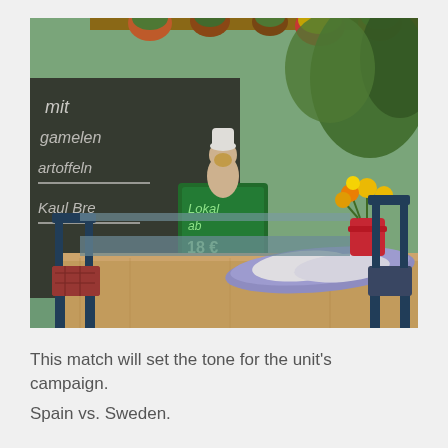[Figure (photo): Outdoor cafe scene with wooden table, metal chairs with red cushions, a small chalkboard menu sign held by a decorative doll figure, potted flowers, an open book/menu on the table, and green plants in the background]
This match will set the tone for the unit's campaign. Spain vs. Sweden.